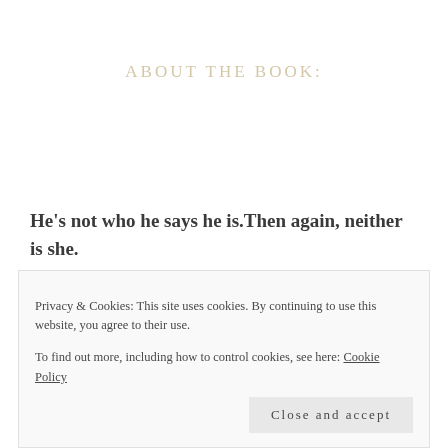ABOUT THE BOOK:
He's not who he says he is.Then again, neither is she.
Steven Harding is a handsome, well-respected professor. Ellie Masterson is a wide-eyed grad student.
Privacy & Cookies: This site uses cookies. By continuing to use this website, you agree to their use.
To find out more, including how to control cookies, see here: Cookie Policy
Close and accept